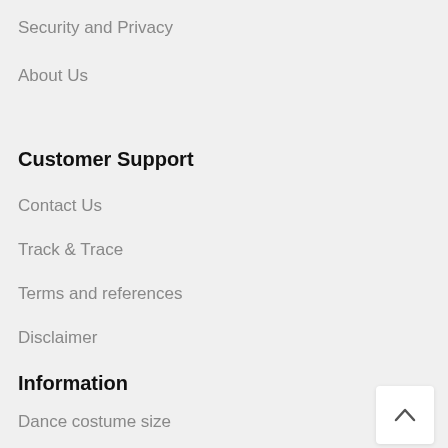Security and Privacy
About Us
Customer Support
Contact Us
Track & Trace
Terms and references
Disclaimer
Information
Dance costume size
Salwar Kameez size
Saree Blouse/Choli size